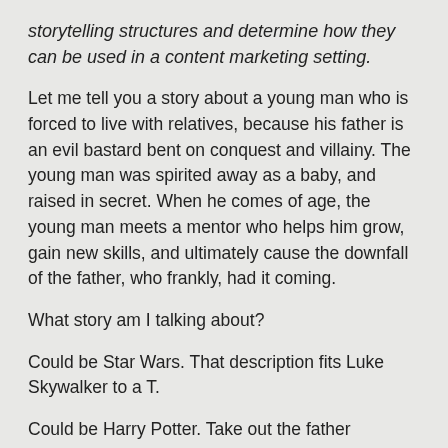storytelling structures and determine how they can be used in a content marketing setting.
Let me tell you a story about a young man who is forced to live with relatives, because his father is an evil bastard bent on conquest and villainy. The young man was spirited away as a baby, and raised in secret. When he comes of age, the young man meets a mentor who helps him grow, gain new skills, and ultimately cause the downfall of the father, who frankly, had it coming.
What story am I talking about?
Could be Star Wars. That description fits Luke Skywalker to a T.
Could be Harry Potter. Take out the father references, and we're looking at the exact same